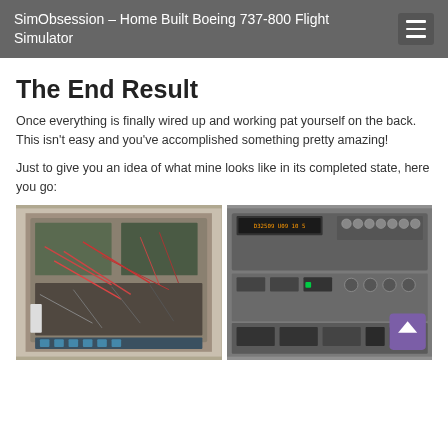SimObsession – Home Built Boeing 737-800 Flight Simulator
The End Result
Once everything is finally wired up and working pat yourself on the back. This isn't easy and you've accomplished something pretty amazing!
Just to give you an idea of what mine looks like in its completed state, here you go:
[Figure (photo): Back of a home-built Boeing 737-800 flight simulator showing extensive wiring and circuit boards]
[Figure (photo): Close-up of the completed cockpit panel of the home-built Boeing 737-800 flight simulator showing various controls, switches, and displays]